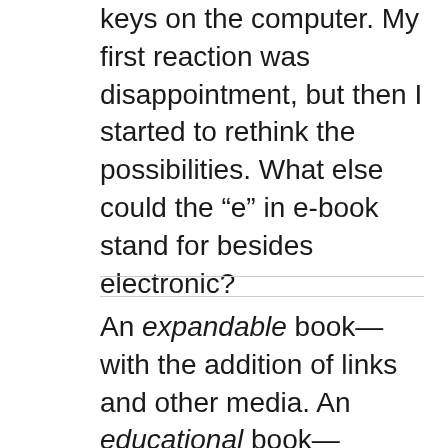keys on the computer. My first reaction was disappointment, but then I started to rethink the possibilities. What else could the “e” in e-book stand for besides electronic?
An expandable book—with the addition of links and other media. An educational book—encouraging learning through interactivity.